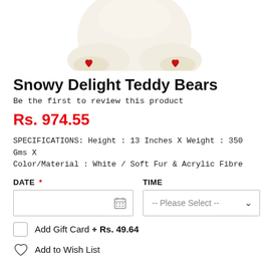[Figure (photo): Bottom portion of a white teddy bear with red hearts on its feet paws, photographed from below on a white background]
Snowy Delight Teddy Bears
Be the first to review this product
Rs. 974.55
SPECIFICATIONS: Height : 13 Inches X Weight : 350 Gms X Color/Material : White / Soft Fur & Acrylic Fibre
DATE * TIME
Add Gift Card + Rs. 49.64
Add to Wish List